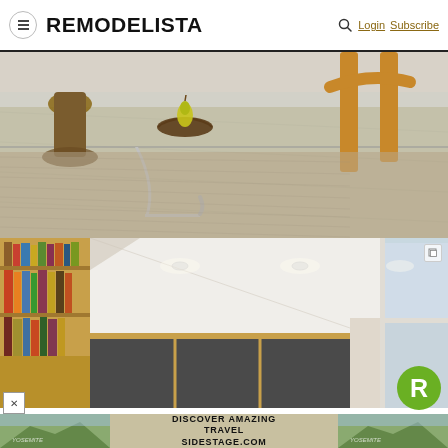REMODELISTA — Login  Subscribe
[Figure (photo): Close-up of a glass-top coffee table with chrome cantilever legs on a grey textured rug, with a wooden bowl holding a pear and a wooden chair leg visible]
[Figure (photo): Interior room with open bookshelf filled with books on the left, dark grey cabinet panels below, white ceiling with recessed lights, and a large window on the right]
[Figure (other): Advertisement banner: DISCOVER AMAZING TRAVEL SIDESTAGE.COM with mountain/forest background images on left and right]